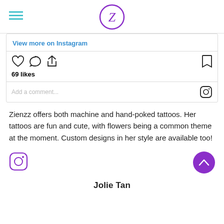Z (Zienzz logo)
View more on Instagram
69 likes
Add a comment...
Zienzz offers both machine and hand-poked tattoos. Her tattoos are fun and cute, with flowers being a common theme at the moment. Custom designs in her style are available too!
Jolie Tan